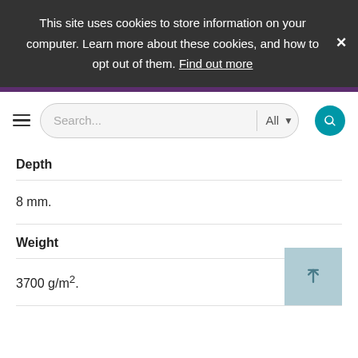This site uses cookies to store information on your computer. Learn more about these cookies, and how to opt out of them. Find out more
[Figure (screenshot): Search bar with hamburger menu icon, text input placeholder 'Search...', 'All' dropdown, and teal search button]
Depth
8 mm.
Weight
3700 g/m².